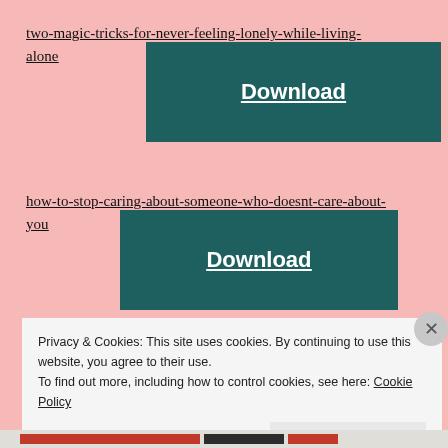two-magic-tricks-for-never-feeling-lonely-while-living-alone
Download
how-to-stop-caring-about-someone-who-doesnt-care-about-you
Download
Privacy & Cookies: This site uses cookies. By continuing to use this website, you agree to their use.
To find out more, including how to control cookies, see here: Cookie Policy
Close and accept